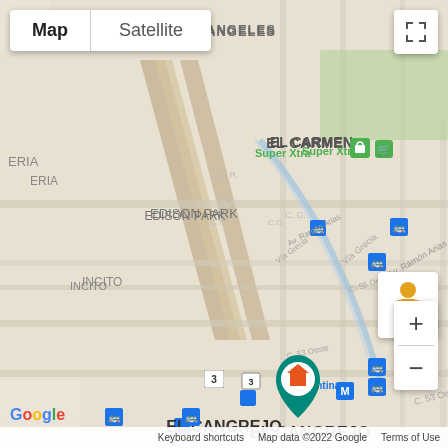[Figure (map): Google Maps screenshot showing El Cangrejo neighborhood in Panama City, Panama. Shows streets, landmarks including University of Panama, Sortis Hotel Spa, Parish National Shrine of the Heart, El Carmen Subway station, Via Argentina metro station, Super Xtra store, Edison Park area, and a teal house pin marker in El Cangrejo. Map controls include Map/Satellite toggle, zoom in/out buttons, pegman street view icon, and expand button.]
Keyboard shortcuts   Map data ©2022 Google   Terms of Use